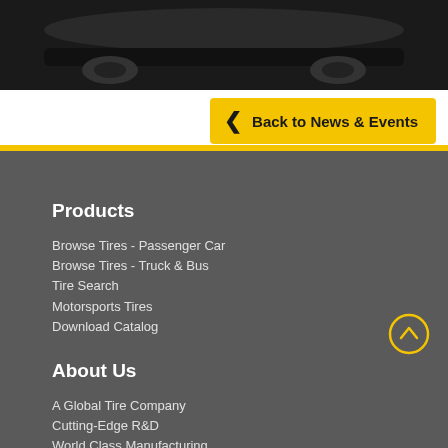[Figure (photo): Partial view of a dark-colored car at the top of the page]
Back to News & Events
Products
Browse Tires - Passenger Car
Browse Tires - Truck & Bus
Tire Search
Motorsports Tires
Download Catalog
About Us
A Global Tire Company
Cutting-Edge R&D
World Class Manufacturing